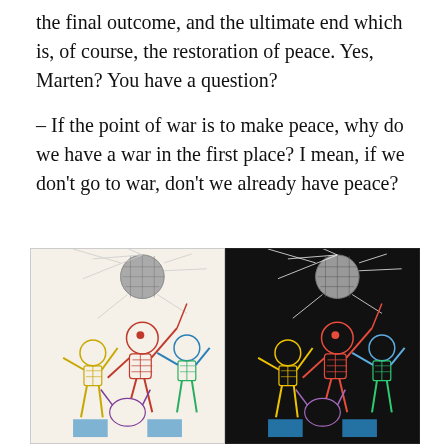the final outcome, and the ultimate end which is, of course, the restoration of peace. Yes, Marten? You have a question?
– If the point of war is to make peace, why do we have a war in the first place? I mean, if we don't go to war, don't we already have peace?
[Figure (illustration): Two side-by-side illustrations showing colorful skeletal figures dancing under a disco ball. Left panel has a white/cream background; right panel has a black background. Both panels depict the same scene: skeletons with multicolored bones (red, yellow, blue, green, gold) dancing and gesturing under a grey sphere emitting rays of light.]